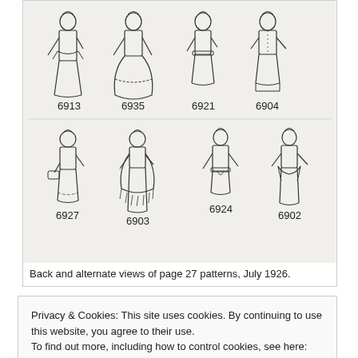[Figure (illustration): Back and alternate views of vintage sewing pattern illustrations showing 8 figures in 1920s style dresses/outfits, labeled with pattern numbers: 6913, 6935, 6921, 6904 (top row) and 6927, 6903, 6924, 6902 (bottom row). July 1926.]
Back and alternate views of page 27 patterns, July 1926.
Privacy & Cookies: This site uses cookies. By continuing to use this website, you agree to their use.
To find out more, including how to control cookies, see here: Cookie Policy